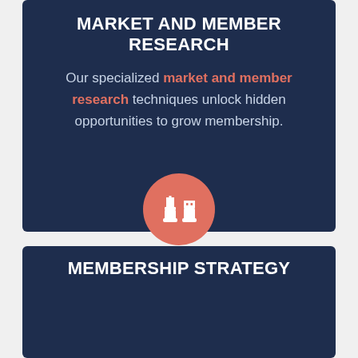[Figure (illustration): Salmon/coral colored circle icon with white bar chart icon inside]
MARKET AND MEMBER RESEARCH
Our specialized market and member research techniques unlock hidden opportunities to grow membership.
[Figure (illustration): Salmon/coral colored circle icon with white chess pieces icon inside]
MEMBERSHIP STRATEGY